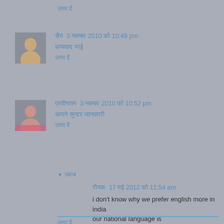उत्तर दें
सैम 3 नवम्बर 2010 को 10:49 pm
धन्यवाद भाई
उत्तर दें
प्रवीणतम 3 नवम्बर 2010 को 10:52 pm
आपने सुन्दर जानकारी
उत्तर दें
↓ जवाब
रौनक 17 मई 2012 को 11:54 am
i don't know why we prefer english more in india our national language is
HINDI
उत्तर दें